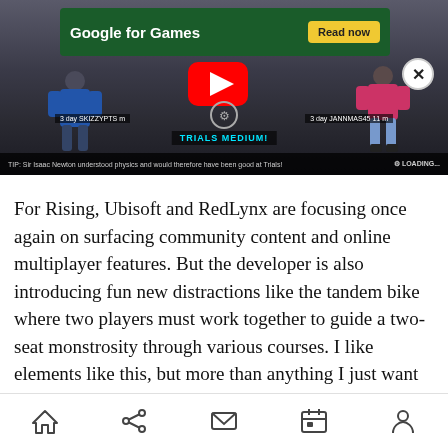[Figure (screenshot): Game screenshot from Trials Rising showing two player characters on a dark track/arena background with a YouTube play button overlay, a Google for Games advertisement banner at the top, player name labels, TRIALS MEDIUM label, and a loading bar at the bottom reading 'TIP: Sir Isaac Newton understood physics and would therefore have been good at Trials!' with 'LOADING...' on the right.]
For Rising, Ubisoft and RedLynx are focusing once again on surfacing community content and online multiplayer features. But the developer is also introducing fun new distractions like the tandem bike where two players must work together to guide a two-seat monstrosity through various courses. I like elements like this, but more than anything I just want new courses in a new Trials